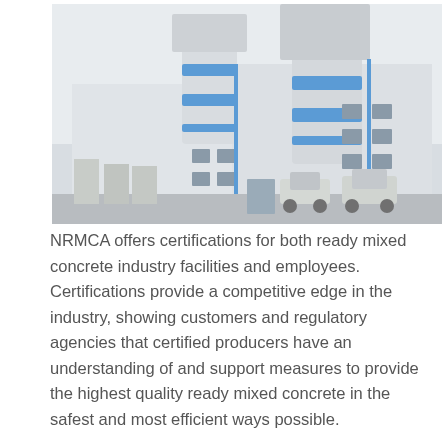[Figure (photo): Photograph of a large industrial ready mixed concrete plant facility with tall white and blue cylindrical silos and multi-story building structure. Concrete mixer trucks are visible at ground level.]
NRMCA offers certifications for both ready mixed concrete industry facilities and employees. Certifications provide a competitive edge in the industry, showing customers and regulatory agencies that certified producers have an understanding of and support measures to provide the highest quality ready mixed concrete in the safest and most efficient ways possible.